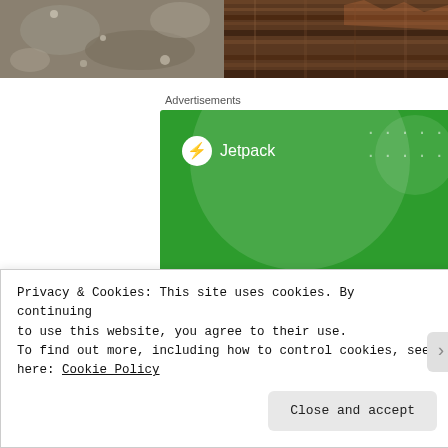[Figure (photo): Two side-by-side photographs of natural textures: left shows lichen-covered rock surface in grey and white tones, right shows dark brown weathered wood or bark texture.]
Advertisements
[Figure (illustration): Jetpack advertisement banner with green background, circular design elements, Jetpack logo with lightning bolt icon, and headline text: 'The best real-time WordPress backup plugin']
Privacy & Cookies: This site uses cookies. By continuing to use this website, you agree to their use.
To find out more, including how to control cookies, see here: Cookie Policy
Close and accept